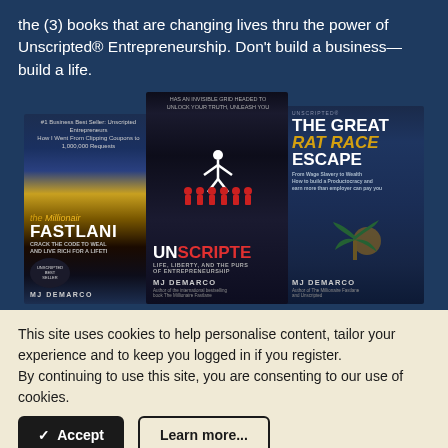the (3) books that are changing lives thru the power of Unscripted® Entrepreneurship. Don't build a business—build a life.
[Figure (photo): Three book covers by MJ DeMarco: 'The Millionaire Fastlane', 'Unscripted: Life, Liberty, and the Pursuit of Entrepreneurship', and 'The Great Rat Race Escape: From Wage Slavery to Wealth' arranged side by side.]
This site uses cookies to help personalise content, tailor your experience and to keep you logged in if you register.
By continuing to use this site, you are consenting to our use of cookies.
✓  Accept
Learn more...